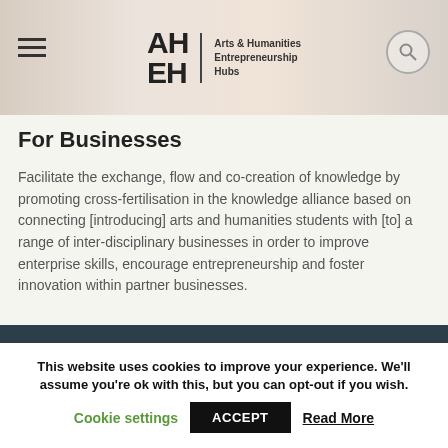[Figure (screenshot): Website header with hamburger menu icon on left, AHEH Arts & Humanities Entrepreneurship Hubs logo in center, and search icon on right, over a warm beige/photo background]
For Businesses
Facilitate the exchange, flow and co-creation of knowledge by promoting cross-fertilisation in the knowledge alliance based on connecting [introducing] arts and humanities students with [to] a range of inter-disciplinary businesses in order to improve enterprise skills, encourage entrepreneurship and foster innovation within partner businesses.
This website uses cookies to improve your experience. We'll assume you're ok with this, but you can opt-out if you wish.
Cookie settings   ACCEPT   Read More